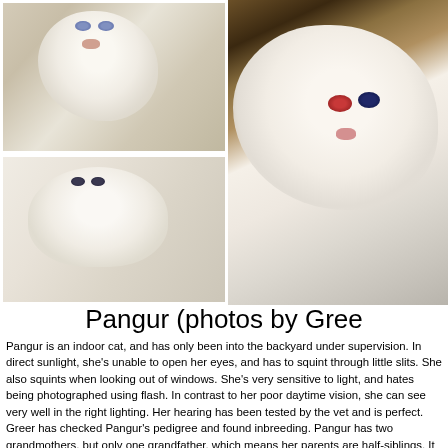[Figure (photo): Two photos of Pangur the white cat on the left: top photo shows a white kitten with blue eyes looking at the camera; bottom photo shows a white cat resting on fabric. Right photo shows a close-up of a white cat with one red/pink eye and one dark eye.]
Pangur (photos by Gree
Pangur is an indoor cat, and has only been into the backyard under supervision. In direct sunlight, she's unable to open her eyes, and has to squint through little slits. She also squints when looking out of windows. She's very sensitive to light, and hates being photographed using flash. In contrast to her poor daytime vision, she can see very well in the right lighting. Her hearing has been tested by the vet and is perfect. Greer has checked Pangur's pedigree and found inbreeding. Pangur has two grandmothers, but only one grandfather, which means her parents are half-siblings. It seems likely that the grandfather passed on his recessive albinism gene to Pangur's parents, and Pangur inherited two copies of the gene. One of her sisters appears to be albino, but her other siblings have neon-bright cyan eyes (i.e. the blue colour normal for foreign white cats).